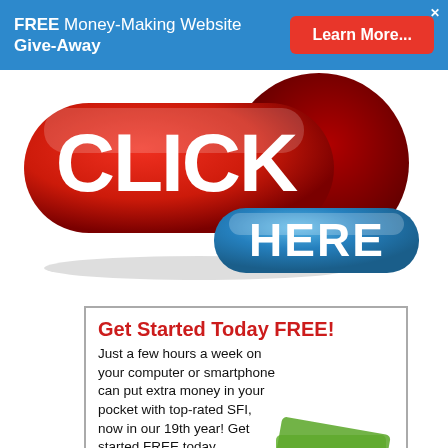FREE Money-Making Website Give-Away — Learn More... ✕
[Figure (illustration): Large red rounded button with white bold text 'CLICK' and a blue rounded pill button below with white bold text 'HERE']
Get Started Today FREE!
Just a few hours a week on your computer or smartphone can put extra money in your pocket with top-rated SFI, now in our 19th year! Get started FREE today,